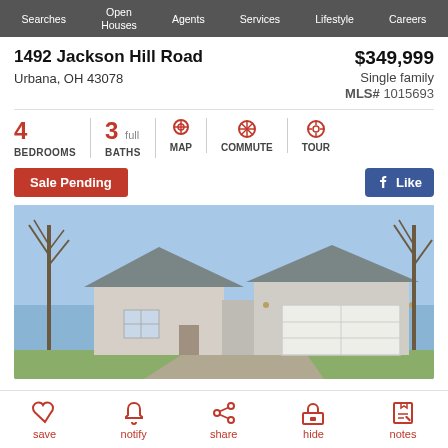Searches | Open Houses | Agents | Services | Lifestyle | Careers
1492 Jackson Hill Road
Urbana, OH 43078
$349,999
Single family
MLS# 1015693
4 BEDROOMS | 3 full BATHS | MAP | COMMUTE | TOUR
Sale Pending
Like
[Figure (photo): Exterior photo of a single-family ranch-style home with white siding, gray roof, attached two-car garage with white garage door, bare trees in background, blue sky.]
save | notify | share | hide | notes